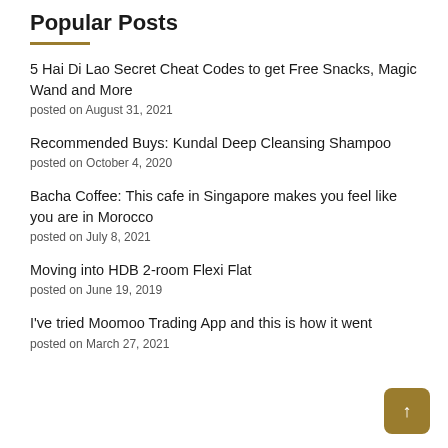Popular Posts
5 Hai Di Lao Secret Cheat Codes to get Free Snacks, Magic Wand and More
posted on August 31, 2021
Recommended Buys: Kundal Deep Cleansing Shampoo
posted on October 4, 2020
Bacha Coffee: This cafe in Singapore makes you feel like you are in Morocco
posted on July 8, 2021
Moving into HDB 2-room Flexi Flat
posted on June 19, 2019
I've tried Moomoo Trading App and this is how it went
posted on March 27, 2021